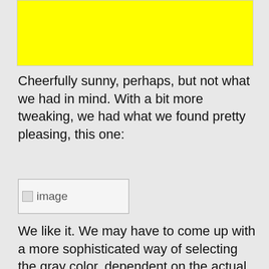[Figure (other): Yellow image/chart area at top of page]
Cheerfully sunny, perhaps, but not what we had in mind. With a bit more tweaking, we had what we found pretty pleasing, this one:
[Figure (other): Placeholder image (broken image icon with label 'image')]
We like it. We may have to come up with a more sophisticated way of selecting the gray color, dependent on the actual data. The current one is just scaled to assume that there might be as many as 20 hits in a cell, and that would give a gray of 120/255, that is, about 50 percent. That